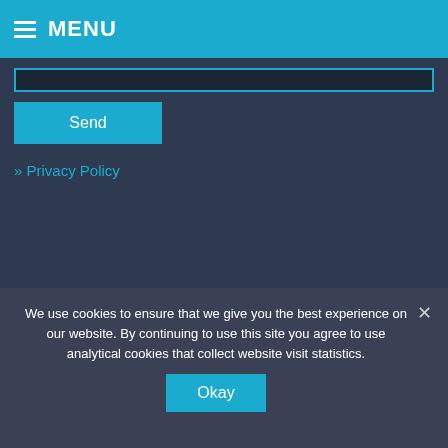MENU
[input field]
Send
» Privacy Policy
[Figure (logo): CVQS ISO 9001 certification emblem with laurel wreath, text: ISO 9001 Certificate No. GB2001267]
Copyright © 2022 Technology Solutions (UK) Ltd. All rights reserved.
Cookies • Privacy Policy • SDK License Agreement • Terms and Conditions
We use cookies to ensure that we give you the best experience on our website. By continuing to use this site you agree to use analytical cookies that collect website visit statistics.
Okay